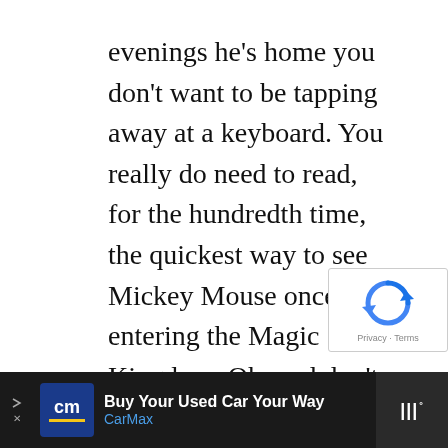evenings he's home you don't want to be tapping away at a keyboard. You really do need to read, for the hundredth time, the quickest way to see Mickey Mouse once entering the Magic Kingdom. Oh, and don't forget, you're just too tired. Rightfully so, you work forty hours a week and have a five year old. Oh, wait. I already used that one…
ADVERTISEMENT
[Figure (other): reCAPTCHA overlay widget with blue circular arrow logo and Privacy - Terms footer links]
[Figure (other): Bottom advertisement bar: CarMax 'Buy Your Used Car Your Way' ad with blue CM logo, blue navigation arrow diamond icon, and Milo app logo on dark background]